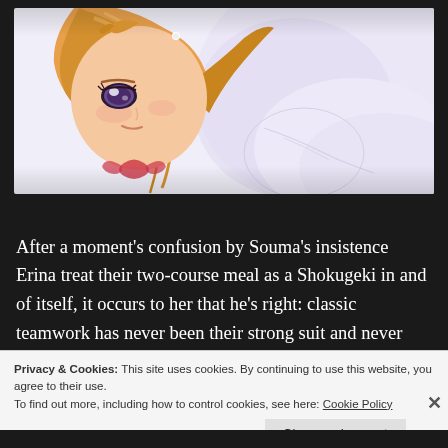[Figure (illustration): Anime-style illustration of a character with orange/blonde hair and violet eyes shown in close-up, facing the viewer with a soft expression. Background is white/light colored. The character appears to be in a white outfit.]
After a moment's confusion by Souma's insistence Erina treat their two-course meal as a Shokugeki in and of itself, it occurs to her that he's right: classic teamwork has never been their strong suit and never
Privacy & Cookies: This site uses cookies. By continuing to use this website, you agree to their use.
To find out more, including how to control cookies, see here: Cookie Policy
Close and accept